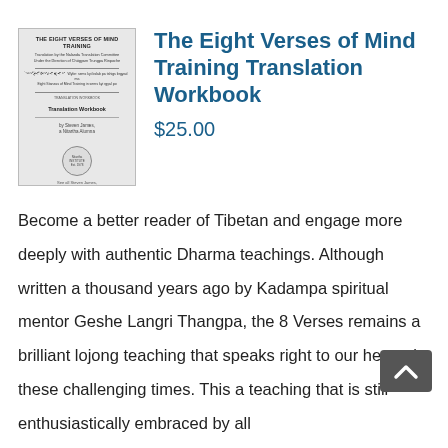[Figure (illustration): Book cover thumbnail for 'The Eight Verses of Mind Training Translation Workbook' showing title text, subtitle lines, author name, and a circular seal/stamp on a light gray background with a border.]
The Eight Verses of Mind Training Translation Workbook
$25.00
Become a better reader of Tibetan and engage more deeply with authentic Dharma teachings. Although written a thousand years ago by Kadampa spiritual mentor Geshe Langri Thangpa, the 8 Verses remains a brilliant lojong teaching that speaks right to our hearts in these challenging times. This a teaching that is still enthusiastically embraced by all